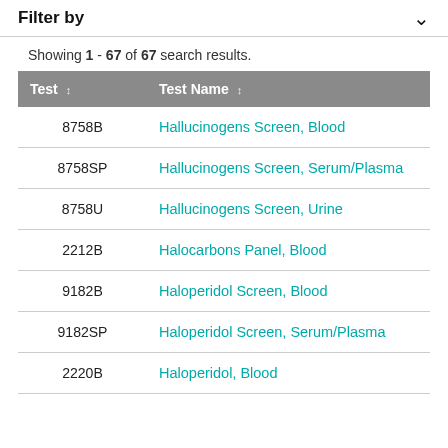Filter by
Showing 1 - 67 of 67 search results.
| Test | Test Name |
| --- | --- |
| 8758B | Hallucinogens Screen, Blood |
| 8758SP | Hallucinogens Screen, Serum/Plasma |
| 8758U | Hallucinogens Screen, Urine |
| 2212B | Halocarbons Panel, Blood |
| 9182B | Haloperidol Screen, Blood |
| 9182SP | Haloperidol Screen, Serum/Plasma |
| 2220B | Haloperidol, Blood |